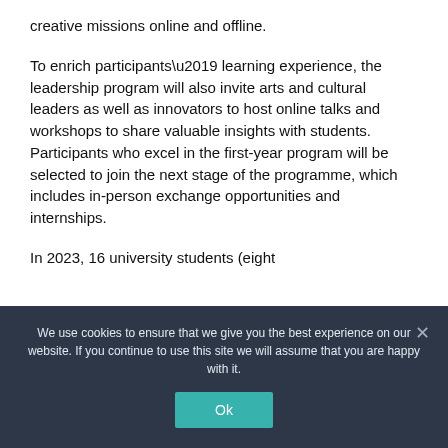creative missions online and offline.
To enrich participants’ learning experience, the leadership program will also invite arts and cultural leaders as well as innovators to host online talks and workshops to share valuable insights with students. Participants who excel in the first-year program will be selected to join the next stage of the programme, which includes in-person exchange opportunities and internships.
In 2023, 16 university students (eight
We use cookies to ensure that we give you the best experience on our website. If you continue to use this site we will assume that you are happy with it.